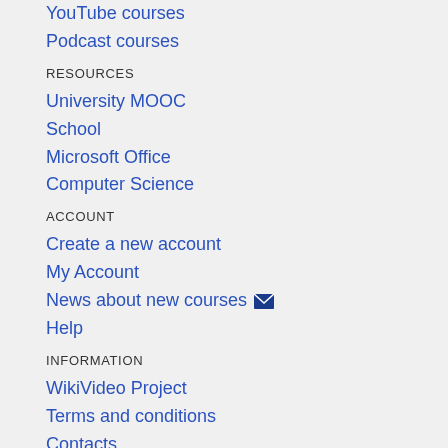YouTube courses
Podcast courses
RESOURCES
University MOOC
School
Microsoft Office
Computer Science
ACCOUNT
Create a new account
My Account
News about new courses
Help
INFORMATION
WikiVideo Project
Terms and conditions
Contacts
All contents on this site are property of respective authors and can be distribute under Creative Commons License.
Copyright © 2022 Innovatiweb P.I.